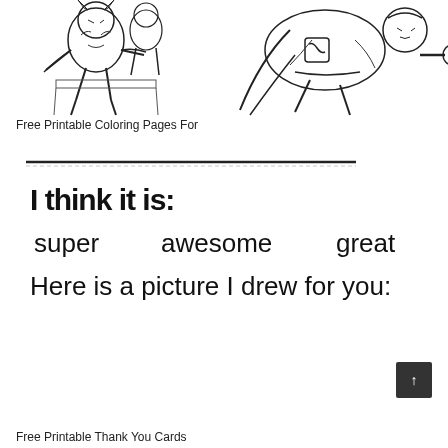[Figure (illustration): Black and white comic-style illustration showing two superhero figures: on the left, a seated superhero and on the right, Superman flying with fist forward.]
Free Printable Coloring Pages For
[Figure (illustration): A handwritten-style printable card template with a horizontal line at the top, then text: 'I think it is:' followed by three word choices 'super  awesome  great' and a line 'Here is a picture I drew for you:']
Free Printable Thank You Cards